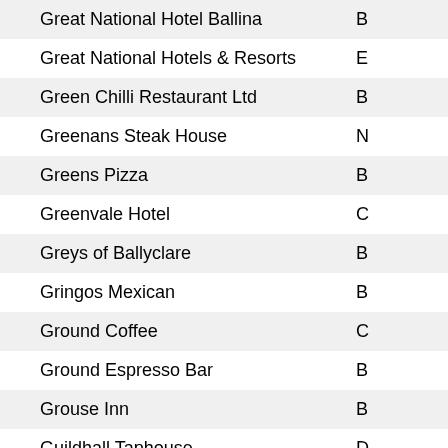| Name | Location |
| --- | --- |
| Great National Hotel Ballina | B... |
| Great National Hotels & Resorts | E... |
| Green Chilli Restaurant Ltd | B... |
| Greenans Steak House | N... |
| Greens Pizza | B... |
| Greenvale Hotel | C... |
| Greys of Ballyclare | B... |
| Gringos Mexican | B... |
| Ground Coffee | C... |
| Ground Espresso Bar | B... |
| Grouse Inn | B... |
| Guildhall Taphouse | D... |
| Guiseppes | N... |
| Gweedore Bar | D... |
| Gwen's Cafe | B... |
| Gwyns Cafe and Pavilion | D... |
| H A U S | B... |
| H J S Developments | B... |
| Habour & Co | D... |